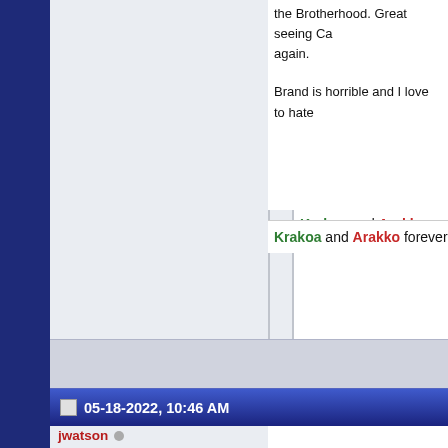the Brotherhood. Great seeing Ca... again.

Brand is horrible and I love to hate...
Krakoa and Arakko forever!
05-18-2022, 10:46 AM
jwatson
Ultimate Member
Join Date: May 2014
Posts: 12,478
Originally Posted by CoCo...
I want Frenzy to break her... said and out there.
i was thinking it would be Cable bu... Frenzy will be storm double agent...

Oh and on a side i love that Arraki... and call her as such. Her krakoans... battle name is Storm but Arrakians... name which is big with them so i...